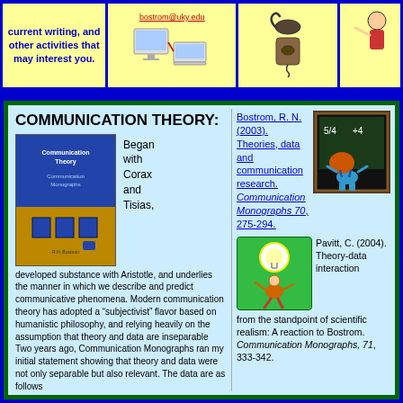current writing, and other activities that may interest you.
[Figure (illustration): Email link bostrom@uky.edu with computer/network illustration]
[Figure (illustration): Telephone/communication device illustration]
[Figure (illustration): Person illustration]
COMMUNICATION THEORY:
[Figure (photo): Book cover: Communication Theory / Communication Monographs]
Began with Corax and Tisias,
developed substance with Aristotle, and underlies the manner in which we describe and predict communicative phenomena. Modern communication theory has adopted a “subjectivist” flavor based on humanistic philosophy, and relying heavily on the assumption that theory and data are inseparable Two years ago, Communication Monographs ran my initial statement showing that theory and data were not only separable but also relevant. The data are as follows
[Figure (illustration): Child at chalkboard with math equations]
Bostrom, R. N. (2003). Theories, data and communication research. Communication Monographs 70, 275-294.
[Figure (illustration): Person with light bulb idea illustration on green background]
Pavitt, C. (2004). Theory-data interaction from the standpoint of scientific realism: A reaction to Bostrom. Communication Monographs, 71, 333-342.